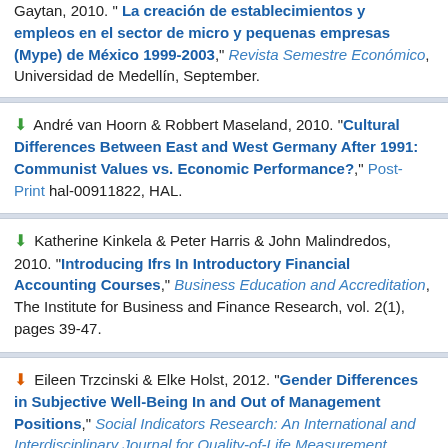Gaytan, 2010. "La creación de establecimientos y empleos en el sector de micro y pequenas empresas (Mype) de México 1999-2003," Revista Semestre Económico, Universidad de Medellín, September.
André van Hoorn & Robbert Maseland, 2010. "Cultural Differences Between East and West Germany After 1991: Communist Values vs. Economic Performance?," Post-Print hal-00911822, HAL.
Katherine Kinkela & Peter Harris & John Malindredos, 2010. "Introducing Ifrs In Introductory Financial Accounting Courses," Business Education and Accreditation, The Institute for Business and Finance Research, vol. 2(1), pages 39-47.
Eileen Trzcinski & Elke Holst, 2012. "Gender Differences in Subjective Well-Being In and Out of Management Positions," Social Indicators Research: An International and Interdisciplinary Journal for Quality-of-Life Measurement, Springer, vol. 107(3),